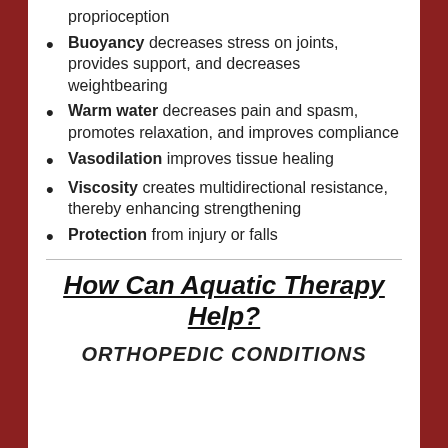proprioception
Buoyancy decreases stress on joints, provides support, and decreases weightbearing
Warm water decreases pain and spasm, promotes relaxation, and improves compliance
Vasodilation improves tissue healing
Viscosity creates multidirectional resistance, thereby enhancing strengthening
Protection from injury or falls
How Can Aquatic Therapy Help?
ORTHOPEDIC CONDITIONS